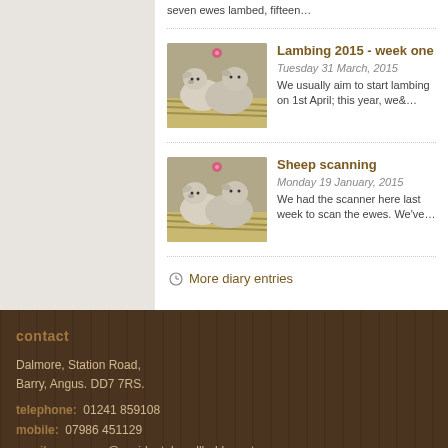seven ewes lambed, fifteen…
Lambing 2015 - week one
Tuesday 31 March, 2015
We usually aim to start lambing on 1st April; this year, we&…
Sheep scanning
Monday 19 January, 2015
We had the scanner here last week to scan the ewes. We've…
More diary entries
contact
Dalmore, Station Road,
Barry, Angus. DD7 7RS.
telephone:   01241 859108
mobile:   07986 451129
email:   rosemary@accidentalsmallholder.net